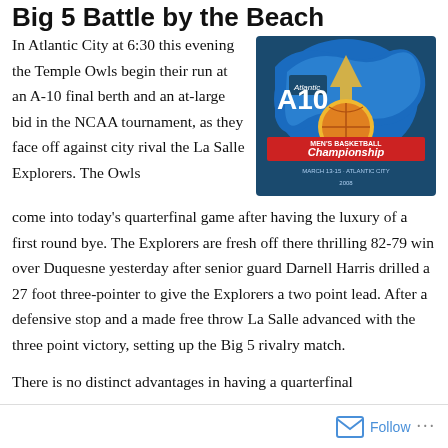Big 5 Battle by the Beach
[Figure (logo): Atlantic 10 Men's Basketball Championship logo with blue wave, golden basketball, red banner, teal background, March 13-15, Atlantic City]
In Atlantic City at 6:30 this evening the Temple Owls begin their run at an A-10 final berth and an at-large bid in the NCAA tournament, as they face off against city rival the La Salle Explorers. The Owls come into today's quarterfinal game after having the luxury of a first round bye. The Explorers are fresh off there thrilling 82-79 win over Duquesne yesterday after senior guard Darnell Harris drilled a 27 foot three-pointer to give the Explorers a two point lead. After a defensive stop and a made free throw La Salle advanced with the three point victory, setting up the Big 5 rivalry match.
There is no distinct advantages in having a quarterfinal
Follow